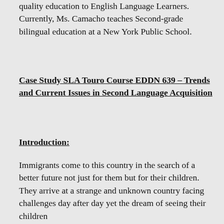quality education to English Language Learners.  Currently, Ms. Camacho teaches Second-grade bilingual education at a New York Public School.
Case Study SLA Touro Course EDDN 639 – Trends and Current Issues in Second Language Acquisition
Introduction:
Immigrants come to this country in the search of a better future not just for them but for their children.  They arrive at a strange and unknown country facing challenges day after day yet the dream of seeing their children